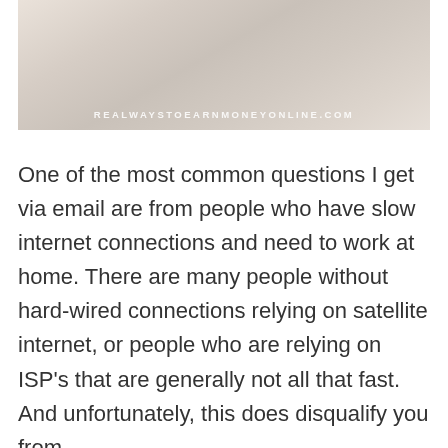[Figure (photo): A flat-lay photo of a desk/notebook with pencils on a light wood surface, with the watermark text REALWAYSTOEARNMONEYONLINE.COM overlaid at the bottom.]
One of the most common questions I get via email are from people who have slow internet connections and need to work at home. There are many people without hard-wired connections relying on satellite internet, or people who are relying on ISP's that are generally not all that fast. And unfortunately, this does disqualify you from … Read more